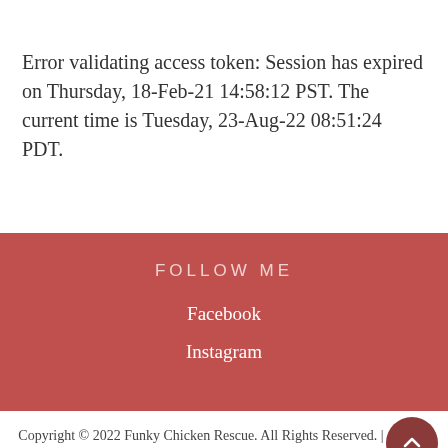Error validating access token: Session has expired on Thursday, 18-Feb-21 14:58:12 PST. The current time is Tuesday, 23-Aug-22 08:51:24 PDT.
FOLLOW ME
Facebook
Instagram
Copyright © 2022 Funky Chicken Rescue. All Rights Reserved. | Christmas Bell by Catch Themes